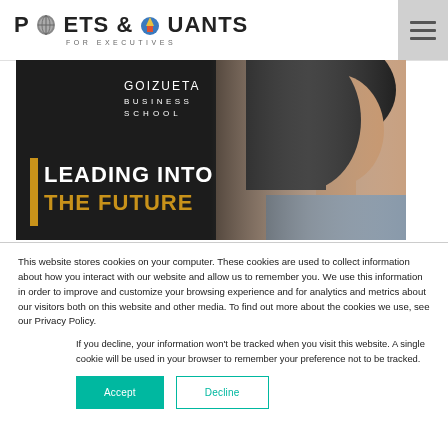POETS & QUANTS FOR EXECUTIVES
[Figure (photo): Goizueta Business School banner ad with woman and text 'LEADING INTO THE FUTURE']
This website stores cookies on your computer. These cookies are used to collect information about how you interact with our website and allow us to remember you. We use this information in order to improve and customize your browsing experience and for analytics and metrics about our visitors both on this website and other media. To find out more about the cookies we use, see our Privacy Policy.
If you decline, your information won't be tracked when you visit this website. A single cookie will be used in your browser to remember your preference not to be tracked.